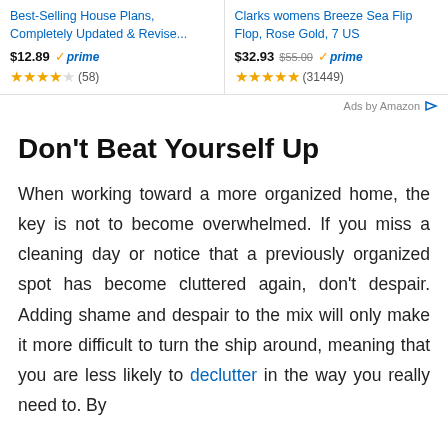[Figure (screenshot): Amazon advertisement banner with two product listings: 'Best-Selling House Plans, Completely Updated & Revise...' at $12.89 with Prime badge and 4.5 stars (58 reviews), and 'Clarks womens Breeze Sea Flip Flop, Rose Gold, 7 US' at $32.93 (was $55.00) with Prime badge and 5 stars (31449 reviews). 'Ads by Amazon' label with arrow icon at bottom right.]
Don't Beat Yourself Up
When working toward a more organized home, the key is not to become overwhelmed. If you miss a cleaning day or notice that a previously organized spot has become cluttered again, don't despair. Adding shame and despair to the mix will only make it more difficult to turn the ship around, meaning that you are less likely to declutter in the way you really need to. By